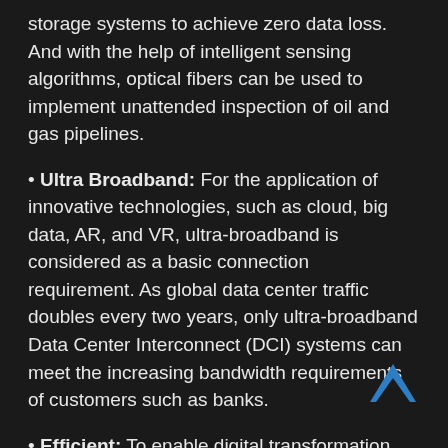storage systems to achieve zero data loss. And with the help of intelligent sensing algorithms, optical fibers can be used to implement unattended inspection of oil and gas pipelines.
• Ultra Broadband: For the application of innovative technologies, such as cloud, big data, AR, and VR, ultra-broadband is considered as a basic connection requirement. As global data center traffic doubles every two years, only ultra-broadband Data Center Interconnect (DCI) systems can meet the increasing bandwidth requirements of customers such as banks.
• Efficient: To enable digital transformation, connectivity must be highly efficient. In scenarios such as smart intersection reconstruction and new factory network construction, efficiency directly determines deployment experience. And in